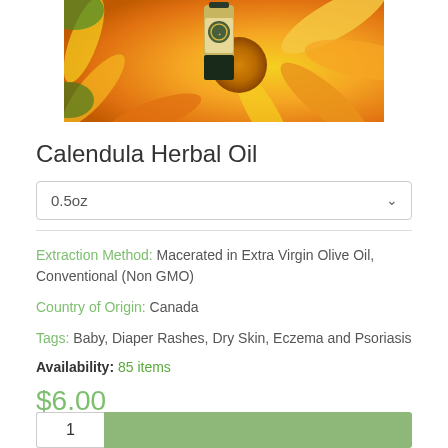[Figure (photo): Product photo showing a bottle of herbal oil in front of a bright orange and yellow calendula flower]
Calendula Herbal Oil
0.5oz (dropdown selector)
Extraction Method: Macerated in Extra Virgin Olive Oil, Conventional (Non GMO)
Country of Origin: Canada
Tags: Baby, Diaper Rashes, Dry Skin, Eczema and Psoriasis
Availability: 85 items
$6.00
Quantity: